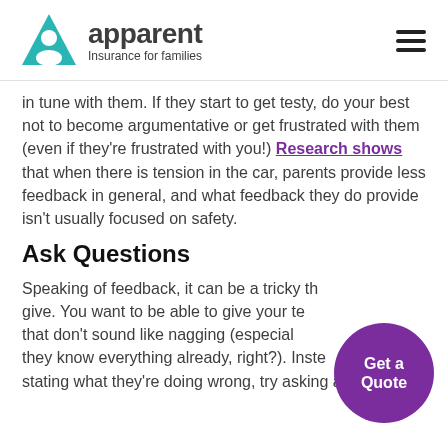apparent Insurance for families
in tune with them. If they start to get testy, do your best not to become argumentative or get frustrated with them (even if they’re frustrated with you!) Research shows that when there is tension in the car, parents provide less feedback in general, and what feedback they do provide isn’t usually focused on safety.
Ask Questions
Speaking of feedback, it can be a tricky thing to give. You want to be able to give your teen tips that don’t sound like nagging (especially when they know everything already, right?). Instead of stating what they’re doing wrong, try asking a